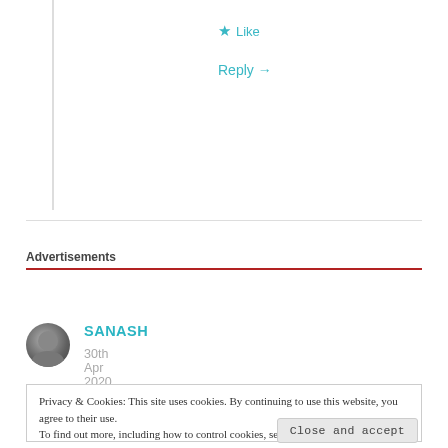★ Like
Reply →
Advertisements
SANASH
30th Apr 2020 at 9:09 am
Privacy & Cookies: This site uses cookies. By continuing to use this website, you agree to their use.
To find out more, including how to control cookies, see here: Cookie Policy
Close and accept